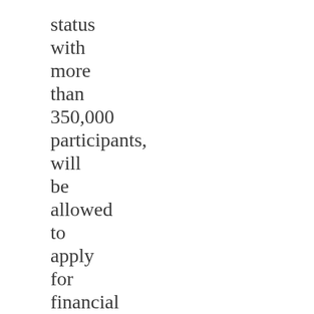status with more than 350,000 participants, will be allowed to apply for financial assistance beginning in April